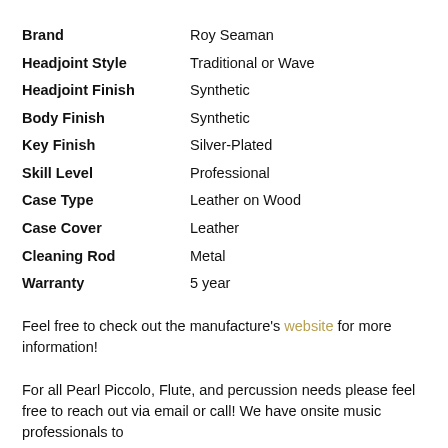| Attribute | Value |
| --- | --- |
| Brand | Roy Seaman |
| Headjoint Style | Traditional or Wave |
| Headjoint Finish | Synthetic |
| Body Finish | Synthetic |
| Key Finish | Silver-Plated |
| Skill Level | Professional |
| Case Type | Leather on Wood |
| Case Cover | Leather |
| Cleaning Rod | Metal |
| Warranty | 5 year |
Feel free to check out the manufacture's website for more information!
For all Pearl Piccolo, Flute, and percussion needs please feel free to reach out via email or call! We have onsite music professionals to